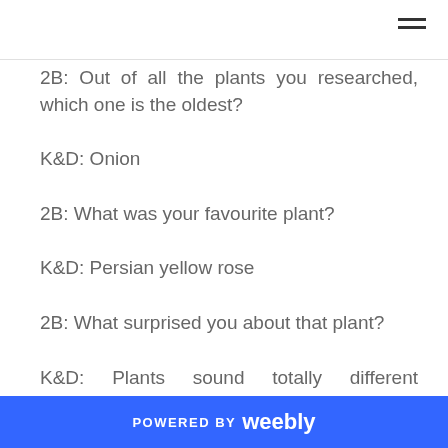2B: Out of all the plants you researched, which one is the oldest?
K&D: Onion
2B: What was your favourite plant?
K&D: Persian yellow rose
2B: What surprised you about that plant?
K&D: Plants sound totally different comparing to what
POWERED BY weebly